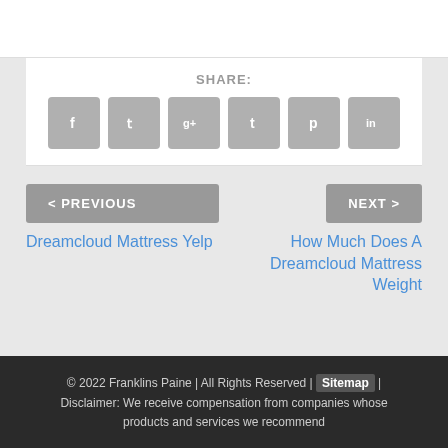SHARE:
[Figure (infographic): Row of 6 social media icon buttons: Facebook (f), Twitter (bird/t), Google+ (g+), Tumblr (t), Pinterest (p), LinkedIn (in), all styled as rounded grey squares with white icons]
< PREVIOUS
Dreamcloud Mattress Yelp
NEXT >
How Much Does A Dreamcloud Mattress Weight
© 2022 Franklins Paine | All Rights Reserved | Sitemap | Disclaimer: We receive compensation from companies whose products and services we recommend